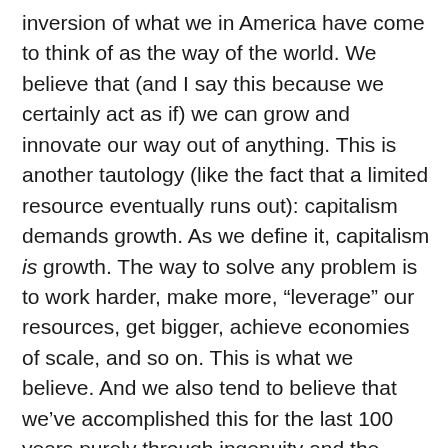inversion of what we in America have come to think of as the way of the world. We believe that (and I say this because we certainly act as if) we can grow and innovate our way out of anything. This is another tautology (like the fact that a limited resource eventually runs out): capitalism demands growth. As we define it, capitalism is growth. The way to solve any problem is to work harder, make more, “leverage” our resources, get bigger, achieve economies of scale, and so on. This is what we believe. And we also tend to believe that we’ve accomplished this for the last 100 years purely through ingenuity and the sweat off our brows. In fact what we’ve been doing is living like global trust-fund kids–cashing in an inheritance to buy lots of pretty toys, have some exciting adventures, and generally engage in a whole lot of showy, meaningless, masturbatory games (a.k.a. Western culture). That inheritance, the dead relative writing all the checks, is oil. That oil represents the captured and condensed energy of thousands of years of solar radiation and millions of years of tectonic activity. That oil is not replaceable, not literally in